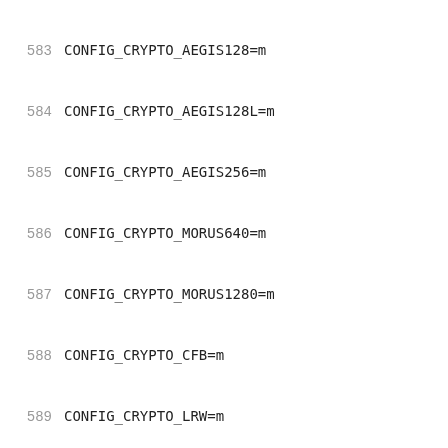583  CONFIG_CRYPTO_AEGIS128=m
584  CONFIG_CRYPTO_AEGIS128L=m
585  CONFIG_CRYPTO_AEGIS256=m
586  CONFIG_CRYPTO_MORUS640=m
587  CONFIG_CRYPTO_MORUS1280=m
588  CONFIG_CRYPTO_CFB=m
589  CONFIG_CRYPTO_LRW=m
590  CONFIG_CRYPTO_PCBC=m
591  CONFIG_CRYPTO_KEYWRAP=m
592  CONFIG_CRYPTO_XCBC=m
593  CONFIG_CRYPTO_VMAC=m
594  CONFIG_CRYPTO_MICHAEL_MIC=m
595  CONFIG_CRYPTO_RMD128=m
596  CONFIG_CRYPTO_RMD160=m
597  CONFIG_CRYPTO_RMD256=m
598  CONFIG_CRYPTO_RMD320=m
599  CONFIG_CRYPTO_SHA512=m
600  CONFIG_CRYPTO_SHA3=m
601  CONFIG_CRYPTO_SM3=m
602  CONFIG_CRYPTO_TGR192=m
603  CONFIG_CRYPTO_WP512=m
604  CONFIG_CRYPTO_AES_TI=m